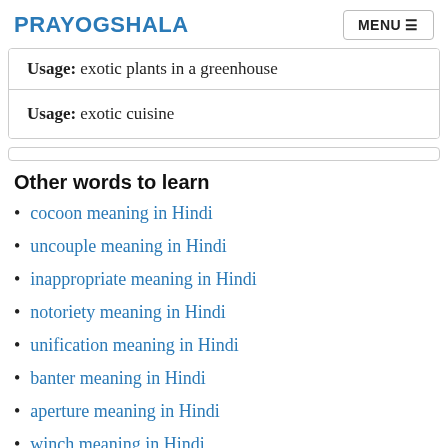PRAYOGSHALA   MENU
| Usage: exotic plants in a greenhouse |
| Usage: exotic cuisine |
Other words to learn
cocoon meaning in Hindi
uncouple meaning in Hindi
inappropriate meaning in Hindi
notoriety meaning in Hindi
unification meaning in Hindi
banter meaning in Hindi
aperture meaning in Hindi
winch meaning in Hindi